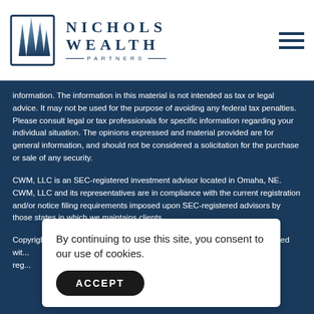[Figure (logo): Nichols Wealth Partners logo with architectural spires icon and company name]
information. The information in this material is not intended as tax or legal advice. It may not be used for the purpose of avoiding any federal tax penalties. Please consult legal or tax professionals for specific information regarding your individual situation. The opinions expressed and material provided are for general information, and should not be considered a solicitation for the purchase or sale of any security.
CWM, LLC is an SEC-registered investment advisor located in Omaha, NE. CWM, LLC and its representatives are in compliance with the current registration and/or notice filing requirements imposed upon SEC-registered advisors by those states in which we maintains clients.
Copyright 2022 CWM, LLC. All rights reserved. This content cannot be copied with...reg...
By continuing to use this site, you consent to our use of cookies.
ACCEPT